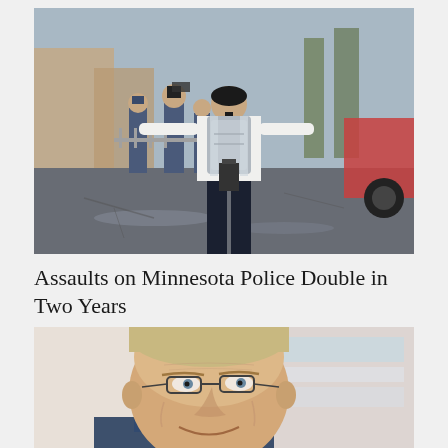[Figure (photo): A person wearing a white t-shirt and dark backpack faces away from camera toward several police officers in blue uniforms on a wet urban street.]
Assaults on Minnesota Police Double in Two Years
[Figure (photo): Close-up portrait of an older man with glasses and gray-blond hair, smiling, in an indoor setting.]